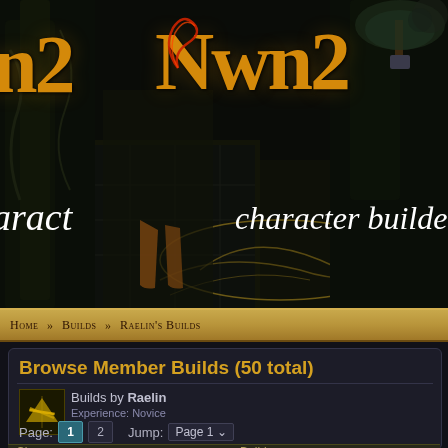[Figure (screenshot): NWN2 character builder website banner with game logo showing 'Nwn2' in gold letters and 'character builder' subtitle over a dark fantasy game scene]
Home » Builds » Raelin's Builds
Browse Member Builds (50 total)
Builds by Raelin
Experience: Novice
Page: 1 2  Jump: Page 1
| Class | Build |
| --- | --- |